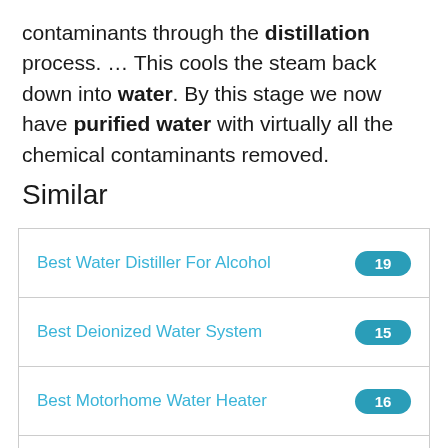contaminants through the distillation process. … This cools the steam back down into water. By this stage we now have purified water with virtually all the chemical contaminants removed.
Similar
Best Water Distiller For Alcohol
Best Deionized Water System
Best Motorhome Water Heater
Best Water Circulation Pump
Best Portable Water Softener